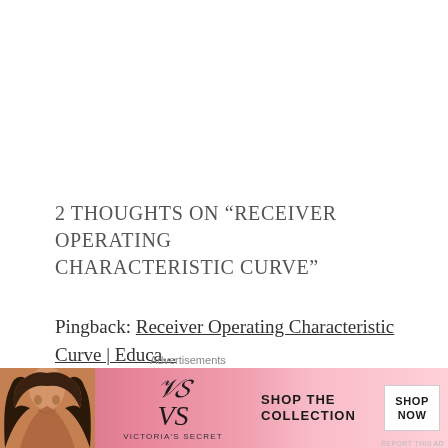2 Thoughts on “Receiver Operating Characteristic Curve”
Pingback: Receiver Operating Characteristic Curve | Educa...
[Figure (other): Victoria's Secret advertisement banner with model, VS logo, 'SHOP THE COLLECTION' text and 'SHOP NOW' button]